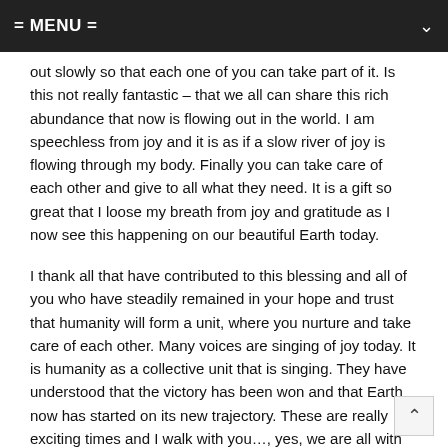= MENU =
out slowly so that each one of you can take part of it. Is this not really fantastic – that we all can share this rich abundance that now is flowing out in the world. I am speechless from joy and it is as if a slow river of joy is flowing through my body. Finally you can take care of each other and give to all what they need. It is a gift so great that I loose my breath from joy and gratitude as I now see this happening on our beautiful Earth today.
I thank all that have contributed to this blessing and all of you who have steadily remained in your hope and trust that humanity will form a unit, where you nurture and take care of each other. Many voices are singing of joy today. It is humanity as a collective unit that is singing. They have understood that the victory has been won and that Earth now has started on its new trajectory. These are really exciting times and I walk with you…, yes, we are all with you now. It is truly a time of joy and gladness and we are among you and help you forward now, as the light has already reached your feet.